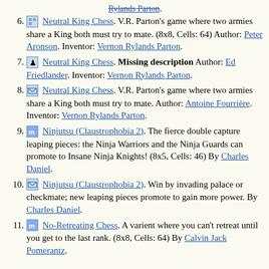6. Neutral King Chess. V.R. Parton's game where two armies share a King both must try to mate. (8x8, Cells: 64) Author: Peter Aronson. Inventor: Vernon Rylands Parton.
7. Neutral King Chess. Missing description Author: Ed Friedlander. Inventor: Vernon Rylands Parton.
8. Neutral King Chess. V.R. Parton's game where two armies share a King both must try to mate. Author: Antoine Fourrière. Inventor: Vernon Rylands Parton.
9. Ninjutsu (Claustrophobia 2). The fierce double capture leaping pieces: the Ninja Warriors and the Ninja Guards can promote to Insane Ninja Knights! (8x5, Cells: 46) By Charles Daniel.
10. Ninjutsu (Claustrophobia 2). Win by invading palace or checkmate; new leaping pieces promote to gain more power. By Charles Daniel.
11. No-Retreating Chess. A varient where you can't retreat until you get to the last rank. (8x8, Cells: 64) By Calvin Jack Pomerantz.